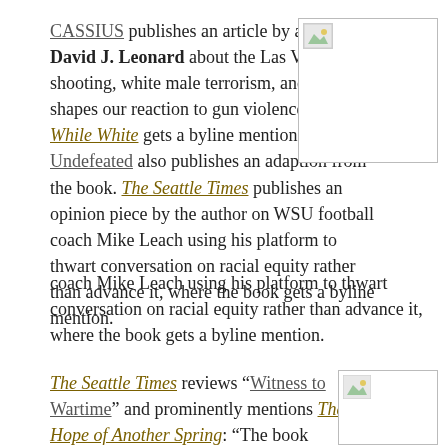CASSIUS publishes an article by author David J. Leonard about the Las Vegas shooting, white male terrorism, and how race shapes our reaction to gun violence. Playing While White gets a byline mention. The Undefeated also publishes an adaption from the book. The Seattle Times publishes an opinion piece by the author on WSU football coach Mike Leach using his platform to thwart conversation on racial equity rather than advance it, where the book gets a byline mention.
[Figure (photo): Placeholder image with broken image icon, bordered rectangle]
The Seattle Times reviews “Witness to Wartime” and prominently mentions The Hope of Another Spring: “The book
[Figure (photo): Placeholder image with broken image icon, bordered rectangle]